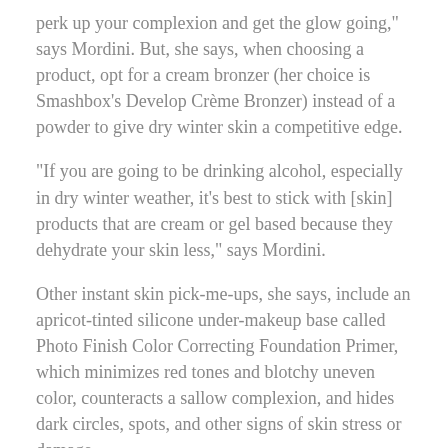perk up your complexion and get the glow going," says Mordini. But, she says, when choosing a product, opt for a cream bronzer (her choice is Smashbox's Develop CrÃ¨me Bronzer) instead of a powder to give dry winter skin a competitive edge.
"If you are going to be drinking alcohol, especially in dry winter weather, it's best to stick with [skin] products that are cream or gel based because they dehydrate your skin less," says Mordini.
Other instant skin pick-me-ups, she says, include an apricot-tinted silicone under-makeup base called Photo Finish Color Correcting Foundation Primer, which minimizes red tones and blotchy uneven color, counteracts a sallow complexion, and hides dark circles, spots, and other signs of skin stress or damage.
"We also make a product called Artificial Light, which can make you look as if you've had eight hours of sleep when you've really only had three," says Mordini.